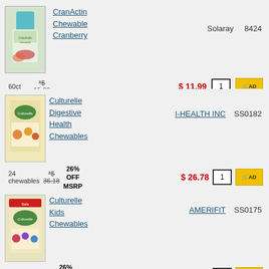[Figure (photo): CranActin Chewable Cranberry supplement bottle by Solaray]
CranActin Chewable Cranberry
Solaray   8424
60ct   *$ 15.09   $ 11.99   1   ADD
[Figure (photo): Culturelle Digestive Health Chewables box by I-HEALTH INC]
Culturelle Digestive Health Chewables
I-HEALTH INC   SS0182
24 chewables   *$ 36.18   26% OFF MSRP   $ 26.78   1   ADD
[Figure (photo): Culturelle Kids Chewables box by AMERIFIT]
Culturelle Kids Chewables
AMERIFIT   SS0175
30 tab   *$ 38.91   26% OFF MSRP   $ 28.80   1   ADD